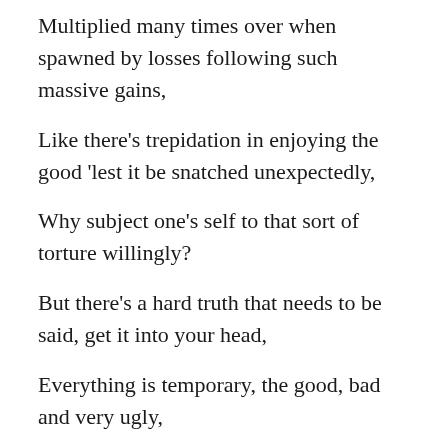Multiplied many times over when spawned by losses following such massive gains,
Like there's trepidation in enjoying the good 'lest it be snatched unexpectedly,
Why subject one's self to that sort of torture willingly?
But there's a hard truth that needs to be said, get it into your head,
Everything is temporary, the good, bad and very ugly,
Time is limited, who and what you have, none of it will last,
Enjoy the good things in life, don't be embarrassed to do so,
They that shame you are likely victimised by pettiness